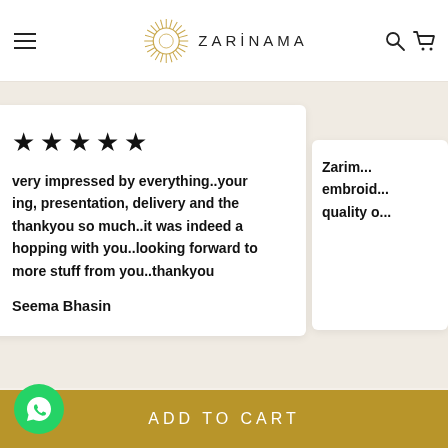ZARINAMA — navigation header with hamburger menu, logo, search and cart icons
[Figure (screenshot): Five black star rating symbols]
very impressed by everything..your ing, presentation, delivery and the thankyou so much..it was indeed a hopping with you..looking forward to more stuff from you..thankyou
Seema Bhasin
Zarim... embroid... quality o...
ADD TO CART